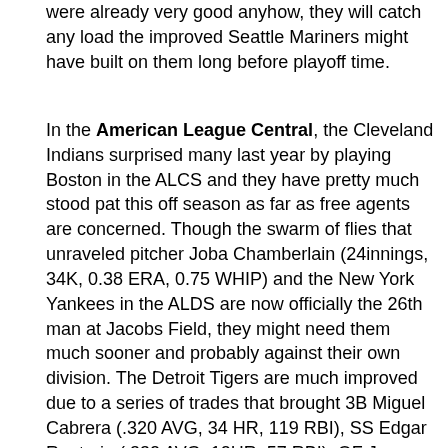were already very good anyhow, they will catch any load the improved Seattle Mariners might have built on them long before playoff time.
In the American League Central, the Cleveland Indians surprised many last year by playing Boston in the ALCS and they have pretty much stood pat this off season as far as free agents are concerned. Though the swarm of flies that unraveled pitcher Joba Chamberlain (24innings, 34K, 0.38 ERA, 0.75 WHIP) and the New York Yankees in the ALDS are now officially the 26th man at Jacobs Field, they might need them much sooner and probably against their own division. The Detroit Tigers are much improved due to a series of trades that brought 3B Miguel Cabrera (.320 AVG, 34 HR, 119 RBI), SS Edgar Renteria (.332 AVG, 12HR, 57 RBI), OF Jacque Jones and SP Dontrelle Willis so they will definitely have some say about whether or not the Indians repeat. Dont discount the Chicago White Sox either (if they remain healthy) because the heart of the 2005 Championship mostly remains and with the addition of newcomers SS Orlando Cabrera (.301 AVG, 86 RBI, 101 R, and 20 SB), OF Nick Swisher (.262, 22 HR, and 78 RBI), and stud Cuban pitcher...